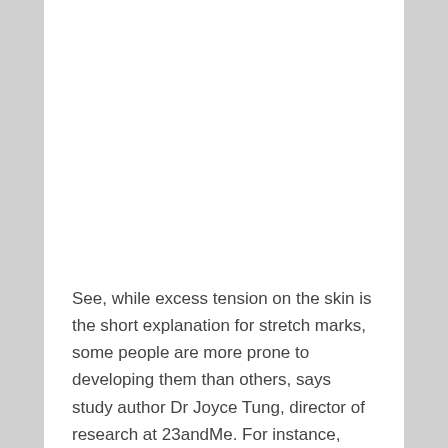See, while excess tension on the skin is the short explanation for stretch marks, some people are more prone to developing them than others, says study author Dr Joyce Tung, director of research at 23andMe. For instance,